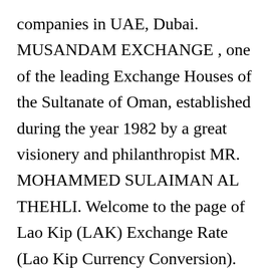companies in UAE, Dubai. MUSANDAM EXCHANGE , one of the leading Exchange Houses of the Sultanate of Oman, established during the year 1982 by a great visionery and philanthropist MR. MOHAMMED SULAIMAN AL THEHLI. Welcome to the page of Lao Kip (LAK) Exchange Rate (Lao Kip Currency Conversion). 265.6700 Srilanka. Export to Excel Export this data to a CSV file which can be imported by Microsoft Excel. Sreejith Resources ⌄ Blog; Money Transfer Tips; FAQ; Currency Encyclopedia; Currency Newsletters; Market Analysis; Glossary; More Resources; Blog. Directory of best currency transfer providers, compare to exchange rates and...